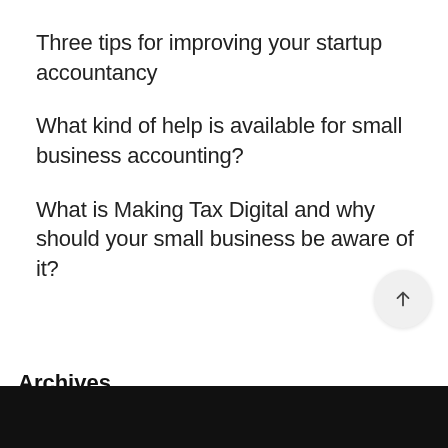Three tips for improving your startup accountancy
What kind of help is available for small business accounting?
What is Making Tax Digital and why should your small business be aware of it?
Archives
Select Month